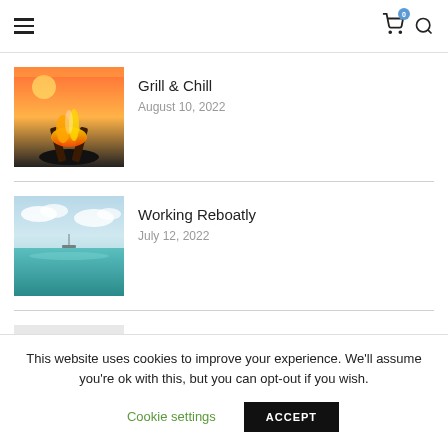Navigation bar with hamburger menu, cart icon (badge: 0), and search icon
[Figure (photo): Close-up of glowing campfire embers and flames against a sunset sky]
Grill & Chill
August 10, 2022
[Figure (photo): Calm turquoise ocean water reflecting a partly cloudy sky, with a small boat visible in the distance]
Working Reboatly
July 12, 2022
Pilots of the Caribbean
This website uses cookies to improve your experience. We'll assume you're ok with this, but you can opt-out if you wish.
Cookie settings
ACCEPT